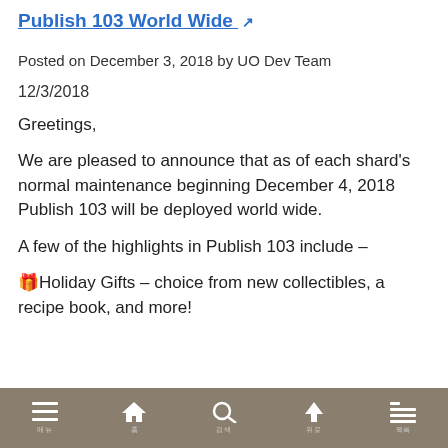Publish 103 World Wide ↗
Posted on December 3, 2018 by UO Dev Team
12/3/2018
Greetings,
We are pleased to announce that as of each shard's normal maintenance beginning December 4, 2018 Publish 103 will be deployed world wide.
A few of the highlights in Publish 103 include –
🎁Holiday Gifts – choice from new collectibles, a recipe book, and more!
Navigation bar with menu, home, search, upload, and list icons